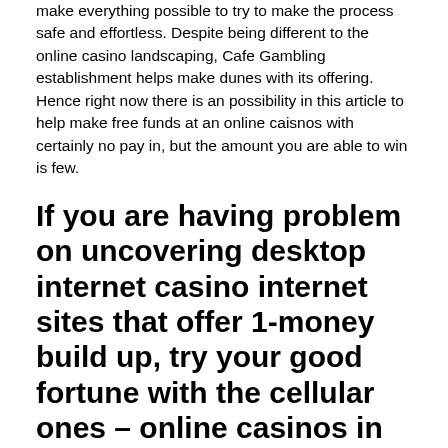make everything possible to try to make the process safe and effortless. Despite being different to the online casino landscaping, Cafe Gambling establishment helps make dunes with its offering. Hence right now there is an possibility in this article to help make free funds at an online caisnos with certainly no pay in, but the amount you are able to win is few.
If you are having problem on uncovering desktop internet casino internet sites that offer 1-money build up, try your good fortune with the cellular ones – online casinos in uk
In online casinos, a least first deposit usually means an amount between €1 and €25. The next step is for you to play several free rounds all while winning real cash. You shouldn't put in large amounts straight away because you might not like the games or give or maybe you might wind up choosing a competitor's